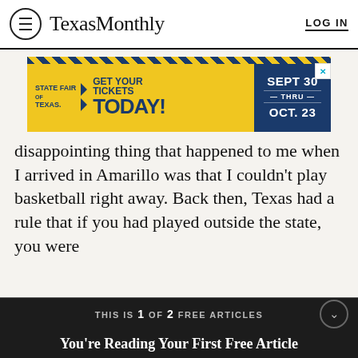Texas Monthly  LOG IN
[Figure (screenshot): State Fair of Texas advertisement banner: yellow background with diagonal hazard stripes, text 'STATE FAIR OF TEXAS >> GET YOUR TICKETS TODAY!' in navy blue, right panel in navy showing 'SEPT 30 — THRU — OCT. 23']
disappointing thing that happened to me when I arrived in Amarillo was that I couldn't play basketball right away. Back then, Texas had a rule that if you had played outside the state, you were
THIS IS 1 OF 2 FREE ARTICLES
You're Reading Your First Free Article
Subscribe now before you run out of road.
SUBSCRIBE NOW
Already a subscriber? Log in